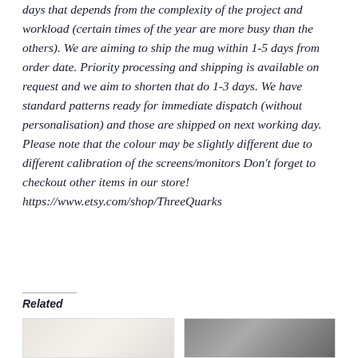days that depends from the complexity of the project and workload (certain times of the year are more busy than the others). We are aiming to ship the mug within 1-5 days from order date. Priority processing and shipping is available on request and we aim to shorten that do 1-3 days. We have standard patterns ready for immediate dispatch (without personalisation) and those are shipped on next working day. Please note that the colour may be slightly different due to different calibration of the screens/monitors Don't forget to checkout other items in our store! https://www.etsy.com/shop/ThreeQuarks
Related
[Figure (photo): Thumbnail image of a product, light background with hand visible]
[Figure (photo): Thumbnail image of a product, dark background with hand holding item]